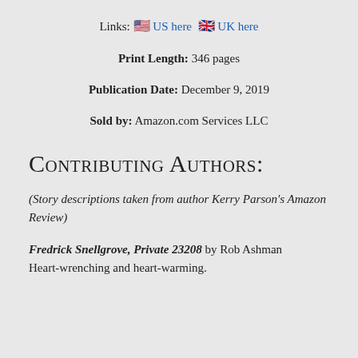Links: 🇺🇸 US here 🇬🇧 UK here
Print Length: 346 pages
Publication Date: December 9, 2019
Sold by: Amazon.com Services LLC
Contributing Authors:
(Story descriptions taken from author Kerry Parson's Amazon Review)
Fredrick Snellgrove, Private 23208 by Rob Ashman Heart-wrenching and heart-warming.